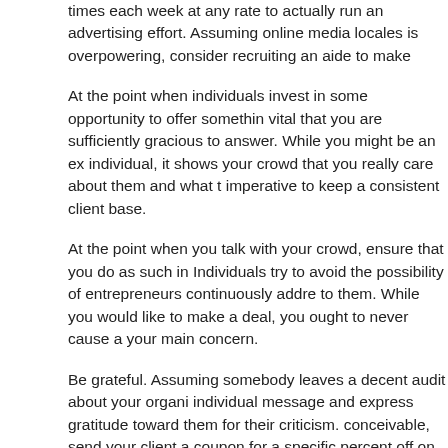times each week at any rate to actually run an advertising effort. Assuming online media locales is overpowering, consider recruiting an aide to make
At the point when individuals invest in some opportunity to offer something vital that you are sufficiently gracious to answer. While you might be an expert individual, it shows your crowd that you really care about them and what they imperative to keep a consistent client base.
At the point when you talk with your crowd, ensure that you do as such in a Individuals try to avoid the possibility of entrepreneurs continuously addressing to them. While you would like to make a deal, you ought to never cause a your main concern.
Be grateful. Assuming somebody leaves a decent audit about your organization, individual message and express gratitude toward them for their criticism. conceivable, send your client a coupon for a specific percent off on their next obliged. In the event that this is preposterous, earnestly say thanks to the
Assuming you will utilize anybody's thoughts, you ought to constantly make credit for that. Everybody out there can advance a little from others, so give individuals that you don't think you are over that. This is an extraordinary appreciation.
On the off chance that you own a business, treat your representatives correctly, you might foster a negative standing as an entrepreneur. Certain individuals as a result of it.